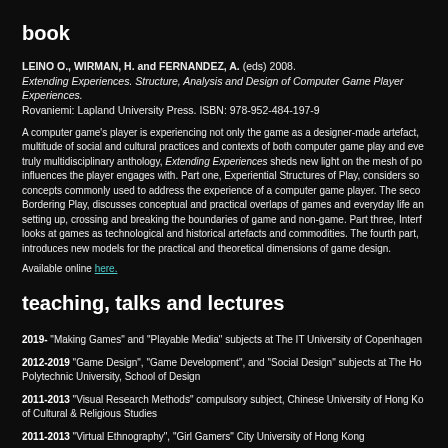book
LEINO O., WIRMAN, H. and FERNANDEZ, A. (eds) 2008. Extending Experiences. Structure, Analysis and Design of Computer Game Player Experiences. Rovaniemi: Lapland University Press. ISBN: 978-952-484-197-9
A computer game's player is experiencing not only the game as a designer-made artefact, multitude of social and cultural practices and contexts of both computer game play and everyday life. As a truly multidisciplinary anthology, Extending Experiences sheds new light on the mesh of possible influences the player engages with. Part one, Experiential Structures of Play, considers some concepts commonly used to address the experience of a computer game player. The second part, Bordering Play, discusses conceptual and practical overlaps of games and everyday life and the setting up, crossing and breaking the boundaries of game and non-game. Part three, Interfaces, looks at games as technological and historical artefacts and commodities. The fourth part, introduces new models for the practical and theoretical dimensions of game design.
Available online here.
teaching, talks and lectures
2019- "Making Games" and "Playable Media" subjects at The IT University of Copenhagen
2012-2019 "Game Design", "Game Development", and "Social Design" subjects at The Hong Kong Polytechnic University, School of Design
2011-2013 "Visual Research Methods" compulsory subject, Chinese University of Hong Kong, Department of Cultural & Religious Studies
2011-2013 "Virtual Ethnography", "Girl Gamers" City University of Hong Kong
2011-2013 "TOUCH project" multiple school talks in Hong Kong and Europe